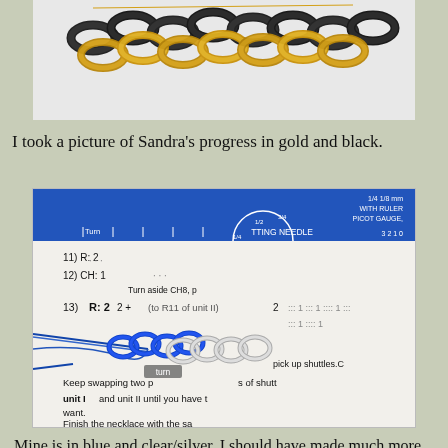[Figure (photo): Close-up photo of tatting lace work in gold and black thread on a white surface]
I took a picture of Sandra's progress in gold and black.
[Figure (photo): Photo of blue and silver tatting lace work in progress, placed on a tatting pattern instruction sheet with a blue ruler/picot gauge visible at top]
Mine is in blue and clear/silver. I should have made much more progress, but when I went to join the silver ring to the